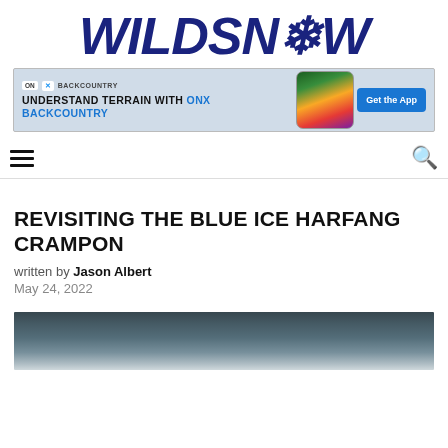WILDSNOW
[Figure (screenshot): ONX Backcountry advertisement banner: 'UNDERSTAND TERRAIN WITH ONX BACKCOUNTRY' with smartphone showing terrain map and 'Get the App' button]
REVISITING THE BLUE ICE HARFANG CRAMPON
written by Jason Albert
May 24, 2022
[Figure (photo): Mountain landscape with snowy rocky terrain under cloudy sky]